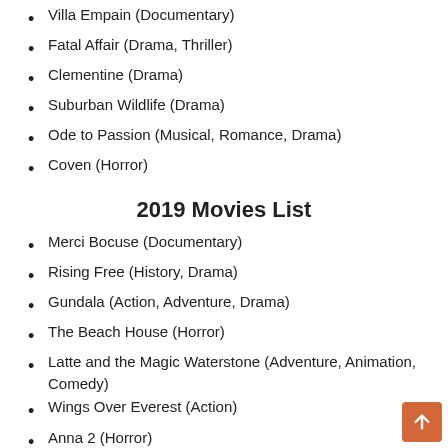Villa Empain (Documentary)
Fatal Affair (Drama, Thriller)
Clementine (Drama)
Suburban Wildlife (Drama)
Ode to Passion (Musical, Romance, Drama)
Coven (Horror)
2019 Movies List
Merci Bocuse (Documentary)
Rising Free (History, Drama)
Gundala (Action, Adventure, Drama)
The Beach House (Horror)
Latte and the Magic Waterstone (Adventure, Animation, Comedy)
Wings Over Everest (Action)
Anna 2 (Horror)
Speak Your Mind (Comedy, Drama)